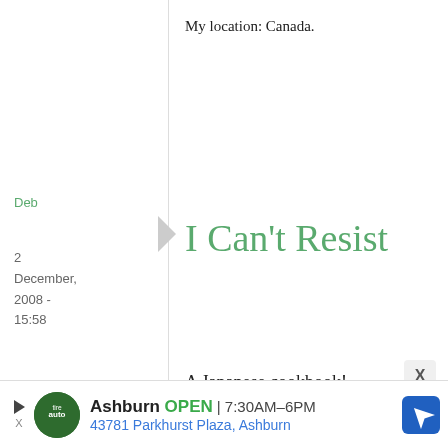My location: Canada.
Deb
2 December, 2008 - 15:58
permalink
I Can't Resist
A Japanese cookbook! I love looking at the pictures even if I don't always know exactly what the recipes say. That about-to-whisk-eggs image is
Ashburn OPEN 7:30AM–6PM 43781 Parkhurst Plaza, Ashburn